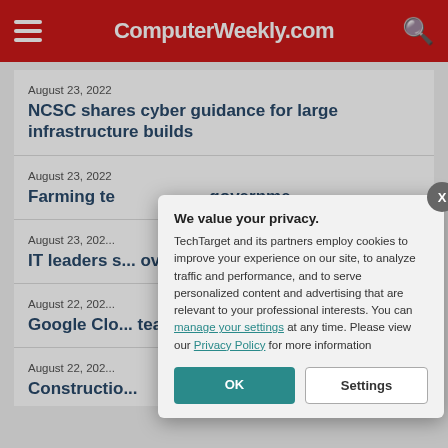ComputerWeekly.com
August 23, 2022
NCSC shares cyber guidance for large infrastructure builds
August 23, 2022
Farming te... governme...
August 23, 202...
IT leaders s... over next t...
August 22, 202...
Google Clo... team up on...
August 22, 202...
Constructio...
We value your privacy. TechTarget and its partners employ cookies to improve your experience on our site, to analyze traffic and performance, and to serve personalized content and advertising that are relevant to your professional interests. You can manage your settings at any time. Please view our Privacy Policy for more information